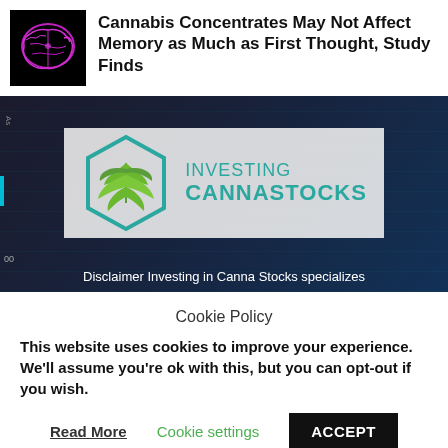[Figure (illustration): Purple/pink neon brain scan image on black background, thumbnail]
Cannabis Concentrates May Not Affect Memory as Much as First Thought, Study Finds
[Figure (logo): Investing Cannastocks logo: teal hexagon outline with green cannabis leaf inside, text 'INVESTING CANNASTOCKS' in teal, on light grey background, overlaid on dark financial chart background]
Disclaimer Investing in Canna Stocks specializes
Cookie Policy
This website uses cookies to improve your experience. We'll assume you're ok with this, but you can opt-out if you wish.
Read More   Cookie settings   ACCEPT